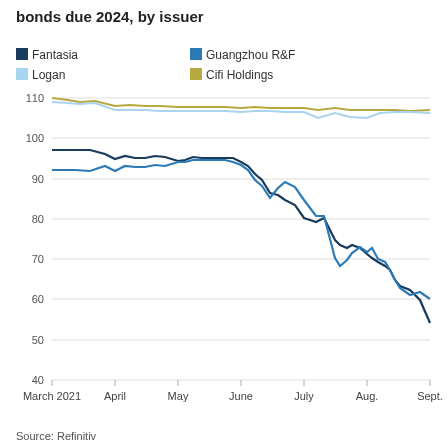bonds due 2024, by issuer
[Figure (line-chart): bonds due 2024, by issuer]
Source: Refinitiv